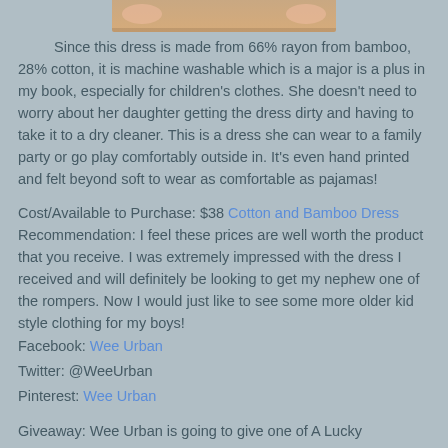[Figure (photo): Partial image of a child's dress at the top of the page]
Since this dress is made from 66% rayon from bamboo, 28% cotton, it is machine washable which is a major is a plus in my book, especially for children's clothes.  She doesn't need to worry about her daughter getting the dress dirty and having to take it to a dry cleaner.  This is a dress she can wear to a family party or go play comfortably outside in.  It's even hand printed and felt beyond soft to wear as comfortable as pajamas!
Cost/Available to Purchase: $38 Cotton and Bamboo Dress
Recommendation:  I feel these prices are well worth the product that you receive.  I was extremely impressed with the dress I received and will definitely be looking to get my nephew one of the rompers.  Now I would just like to see some more older kid style clothing for my boys!
Facebook:  Wee Urban
Twitter:  @WeeUrban
Pinterest:  Wee Urban
Giveaway:  Wee Urban is going to give one of A Lucky